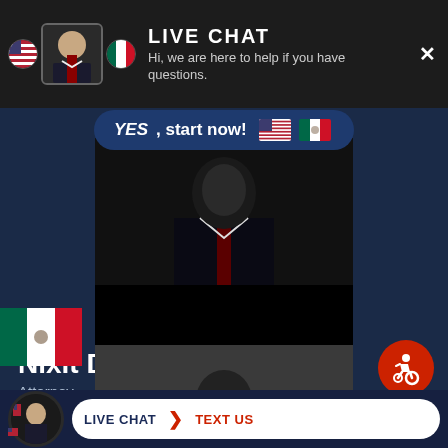[Figure (screenshot): Live chat widget header with attorney photo and flags, YES start now button, attorney photo in dark suit]
LIVE CHAT
Hi, we are here to help if you have questions.
YES, start now!
Nixit Dharia
Attorney
[Figure (photo): Bottom portion of page showing another attorney profile photo in dark background]
LIVE CHAT    TEXT US